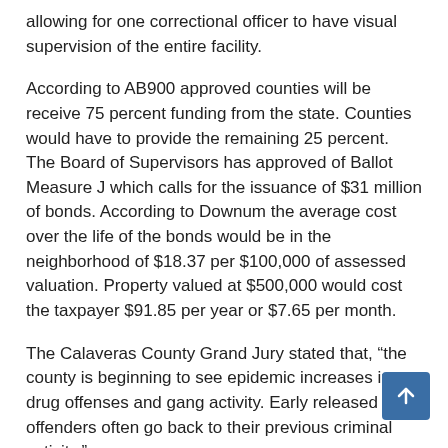allowing for one correctional officer to have visual supervision of the entire facility.
According to AB900 approved counties will be receive 75 percent funding from the state. Counties would have to provide the remaining 25 percent. The Board of Supervisors has approved of Ballot Measure J which calls for the issuance of $31 million of bonds. According to Downum the average cost over the life of the bonds would be in the neighborhood of $18.37 per $100,000 of assessed valuation. Property valued at $500,000 would cost the taxpayer $91.85 per year or $7.65 per month.
The Calaveras County Grand Jury stated that, “the county is beginning to see epidemic increases in drug offenses and gang activity. Early released offenders often go back to their previous criminal activity.”
The election is set for Tuesday, November 6,